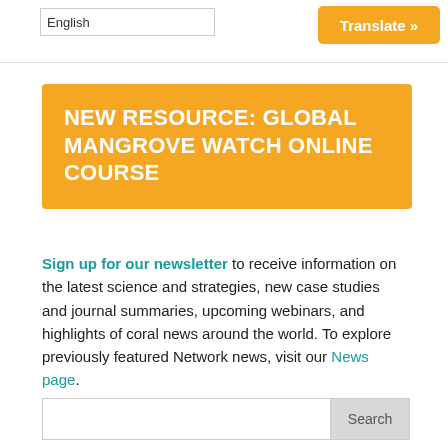English | Translate »
NEW RESOURCE: GLOBAL MANGROVE WATCH ONLINE COURSE
Sign up for our newsletter to receive information on the latest science and strategies, new case studies and journal summaries, upcoming webinars, and highlights of coral news around the world. To explore previously featured Network news, visit our News page.